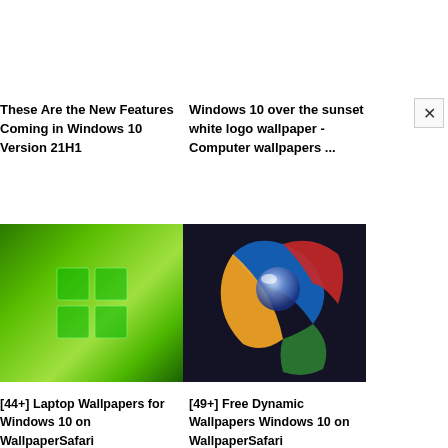×
These Are the New Features Coming in Windows 10 Version 21H1
Windows 10 over the sunset white logo wallpaper - Computer wallpapers ...
[Figure (photo): Green Windows 10 logo wallpaper on gradient green background]
[Figure (photo): Colorful 3D Windows logo sculpture with multicolored segments on dark background]
[44+] Laptop Wallpapers for Windows 10 on WallpaperSafari
[49+] Free Dynamic Wallpapers Windows 10 on WallpaperSafari